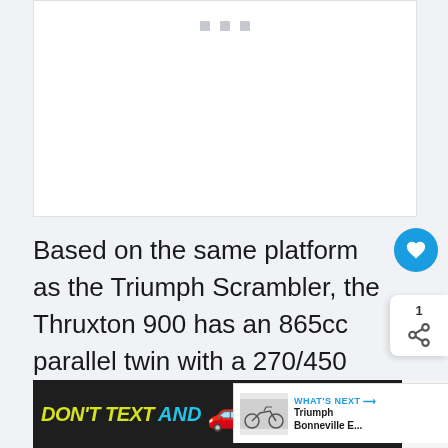[Figure (photo): Image placeholder with loading dots — white rectangle with three small gray squares at top center]
Based on the same platform as the Triumph Scrambler, the Thruxton 900 has an 865cc parallel twin with a 270/450 degree firing order, giving it a slightly lumpier tone than the Bonneville with its 360-360 firing order (the pistons moving together).
[Figure (screenshot): DON'T TEXT AND [car emoji] advertisement banner — dark background with yellow and cyan text, NHTSA logo]
[Figure (screenshot): WHAT'S NEXT arrow panel showing Triumph Bonneville E... with motorcycle image]